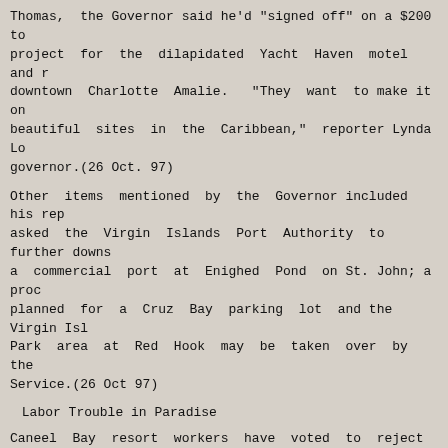Thomas, the Governor said he'd "signed off" on a $200 to project for the dilapidated Yacht Haven motel and r downtown Charlotte Amalie.  "They want to make it on beautiful sites in the Caribbean," reporter Lynda Lo governor.(26 Oct. 97)
Other items mentioned by the Governor included his rep asked the Virgin Islands Port Authority to further downs a commercial port at Enighed Pond on St. John; a proc planned for a Cruz Bay parking lot and the Virgin Isl Park area at Red Hook may be taken over by the Service.(26 Oct 97)
Labor Trouble in Paradise
Caneel Bay resort workers have voted to reject a contr would have raised wages 10 cents to 90 cents an ho years, according to the Virgin Islands Daily News.  The the United Steelworkers Union-represented employees e 30.  Caneel's general manager was quoted saying "I belie is not what our employees want." A key issue in the ne Caneel's sharing the 10 percent gratuity charge on gu employees, except managers, including workers such as wouldn't generally get guests' tips.  Caneel management increase the share of the pool given to maids and belln News report said.  Maids are currently paid about $ including their share of the gratuity, the report s payroll totals 460 employees, 190 of whom are unionized.
Westin Resort sets Nov. 15 opening